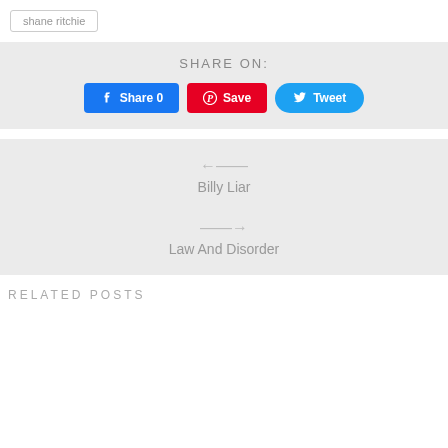shane ritchie
SHARE ON:
Share 0 | Save | Tweet
← Billy Liar
→ Law And Disorder
RELATED POSTS